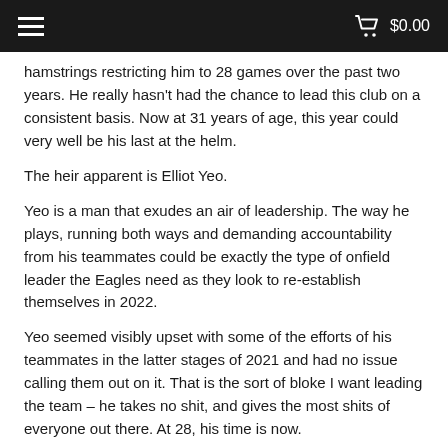≡  🛒 $0.00
hamstrings restricting him to 28 games over the past two years. He really hasn't had the chance to lead this club on a consistent basis. Now at 31 years of age, this year could very well be his last at the helm.
The heir apparent is Elliot Yeo.
Yeo is a man that exudes an air of leadership. The way he plays, running both ways and demanding accountability from his teammates could be exactly the type of onfield leader the Eagles need as they look to re-establish themselves in 2022.
Yeo seemed visibly upset with some of the efforts of his teammates in the latter stages of 2021 and had no issue calling them out on it. That is the sort of bloke I want leading the team – he takes no shit, and gives the most shits of everyone out there. At 28, his time is now.
TIMEFRAME – End of 2022 season